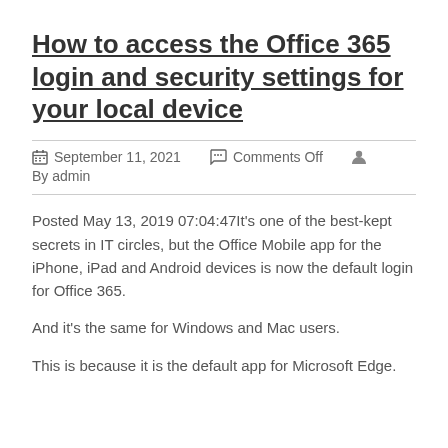How to access the Office 365 login and security settings for your local device
September 11, 2021   Comments Off   By admin
Posted May 13, 2019 07:04:47It's one of the best-kept secrets in IT circles, but the Office Mobile app for the iPhone, iPad and Android devices is now the default login for Office 365.
And it's the same for Windows and Mac users.
This is because it is the default app for Microsoft Edge.